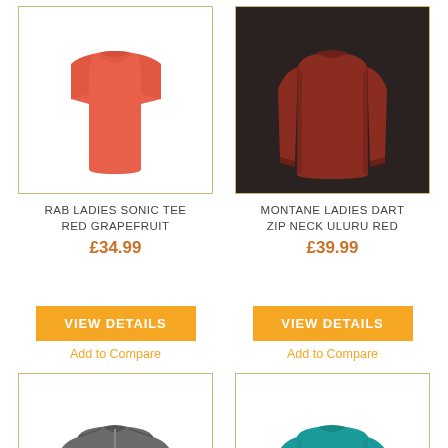[Figure (photo): Coral/red-orange short-sleeve women's t-shirt on white background]
[Figure (photo): Dark red long-sleeve women's zip neck top on dark background]
RAB LADIES SONIC TEE RED GRAPEFRUIT
MONTANE LADIES DART ZIP NECK ULURU RED
£34.99
£39.99
VIEW DETAILS
VIEW DETAILS
Add to Compare
Add to Compare
[Figure (photo): Dark grey long-sleeve zip neck women's top on white background]
[Figure (photo): Teal/turquoise long-sleeve women's top on white background]